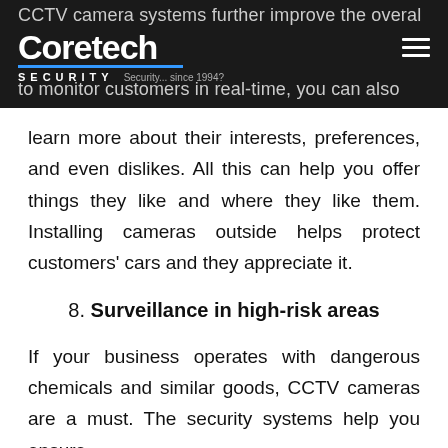CCTV camera systems further improve the overall performance. Since you have the option to monitor customers in real-time, you can also — Coretech Security · Security... since 1994?
learn more about their interests, preferences, and even dislikes. All this can help you offer things they like and where they like them. Installing cameras outside helps protect customers' cars and they appreciate it.
8. Surveillance in high-risk areas
If your business operates with dangerous chemicals and similar goods, CCTV cameras are a must. The security systems help you ensure